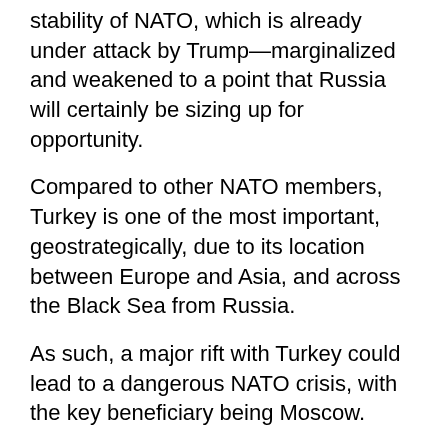stability of NATO, which is already under attack by Trump—marginalized and weakened to a point that Russia will certainly be sizing up for opportunity.
Compared to other NATO members, Turkey is one of the most important, geostrategically, due to its location between Europe and Asia, and across the Black Sea from Russia.
As such, a major rift with Turkey could lead to a dangerous NATO crisis, with the key beneficiary being Moscow.
And in the world of geopolitics, NATO allies don't sanction each other. This is an unprecedented move, and Erdogan is a megalomaniac who won't cater to Trump's antics like Brussels might.
Pro-government columnists in Turkey are already calling for the shut-down of the U.S. military base in Turkey. This is the Incirlik Air Base, which houses some 1,500 American